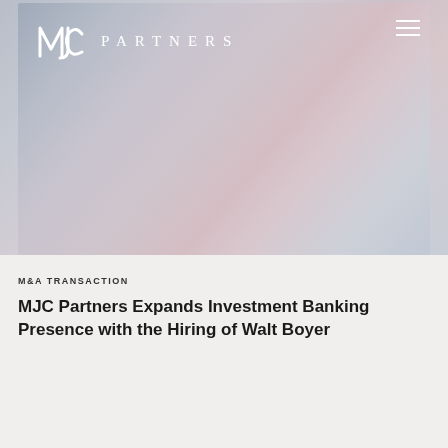[Figure (photo): Hero banner image with blurred abstract gradient background in muted pink, grey and lavender tones. MJC Partners logo (stylized MJC monogram and PARTNERS text in white) positioned top left. Hamburger menu icon top right.]
M&A TRANSACTION
MJC Partners Expands Investment Banking Presence with the Hiring of Walt Boyer